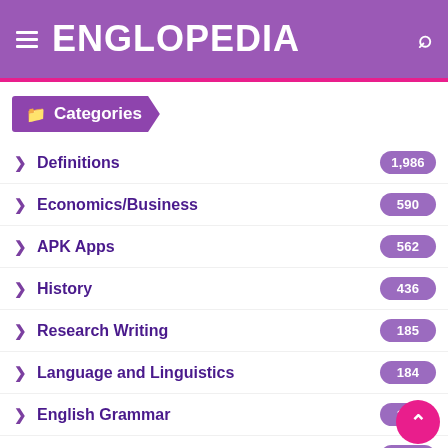ENGLOPEDIA
Categories
Definitions  1,986
Economics/Business  590
APK Apps  562
History  436
Research Writing  185
Language and Linguistics  184
English Grammar  146
Literature  128
English Articles  108
Discourse  96